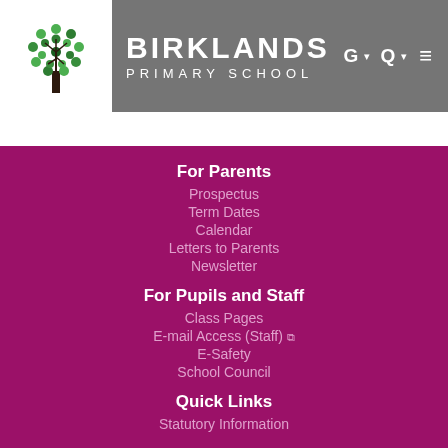[Figure (logo): Birklands Primary School logo: green tree with circular canopy made of green dots, black trunk, on white background]
BIRKLANDS PRIMARY SCHOOL
G  Q  ☰ (navigation icons)
For Parents
Prospectus
Term Dates
Calendar
Letters to Parents
Newsletter
For Pupils and Staff
Class Pages
E-mail Access (Staff) ↗
E-Safety
School Council
Quick Links
Statutory Information